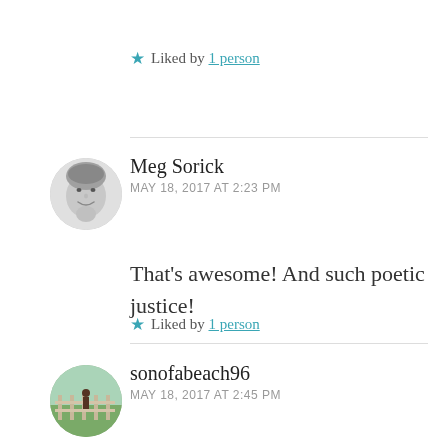★ Liked by 1 person
[Figure (photo): Black and white circular avatar photo of Meg Sorick, a woman smiling]
Meg Sorick
MAY 18, 2017 AT 2:23 PM
That's awesome! And such poetic justice!
★ Liked by 1 person
[Figure (photo): Circular avatar photo of sonofabeach96, showing an outdoor scene with a fence]
sonofabeach96
MAY 18, 2017 AT 2:45 PM